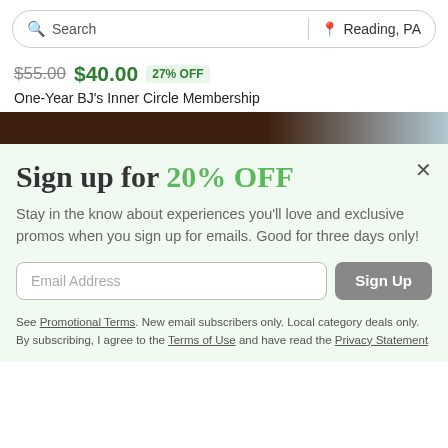Search | Reading, PA
$55.00 $40.00 27% OFF
One-Year BJ's Inner Circle Membership
[Figure (photo): Dark brown and light blue/silver banner image strip]
Sign up for 20% OFF
Stay in the know about experiences you'll love and exclusive promos when you sign up for emails. Good for three days only!
Email Address [Sign Up button]
See Promotional Terms. New email subscribers only. Local category deals only. By subscribing, I agree to the Terms of Use and have read the Privacy Statement